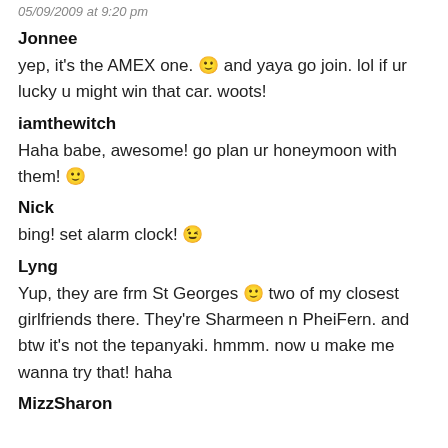05/09/2009 at 9:20 pm
Jonnee
yep, it's the AMEX one. 🙂 and yaya go join. lol if ur lucky u might win that car. woots!
iamthewitch
Haha babe, awesome! go plan ur honeymoon with them! 🙂
Nick
bing! set alarm clock! 😉
Lyng
Yup, they are frm St Georges 🙂 two of my closest girlfriends there. They're Sharmeen n PheiFern. and btw it's not the tepanyaki. hmmm. now u make me wanna try that! haha
MizzSharon